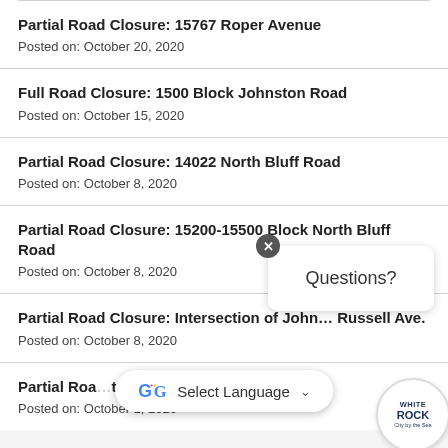Partial Road Closure: 15767 Roper Avenue
Posted on: October 20, 2020
Full Road Closure: 1500 Block Johnston Road
Posted on: October 15, 2020
Partial Road Closure: 14022 North Bluff Road
Posted on: October 8, 2020
Partial Road Closure: 15200-15500 Block North Bluff Road
Posted on: October 8, 2020
Partial Road Closure: Intersection of John... Russell Ave.
Posted on: October 8, 2020
Partial Road... t Avenue
Posted on: October 1, 2020
[Figure (other): Google Translate language selector bar overlay with Google G logo and 'Select Language' text with dropdown arrow]
[Figure (other): Questions? chat popup with close button (x) and White Rock City by the Sea circular logo in bottom right corner]